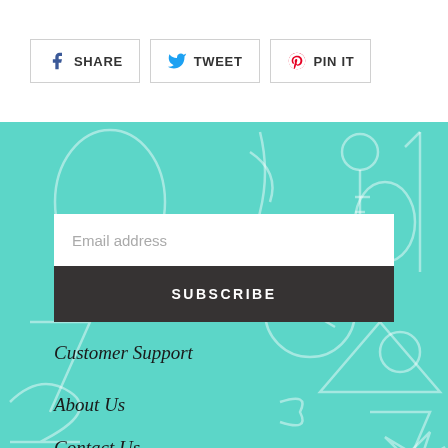[Figure (infographic): Social share buttons row: Facebook SHARE, Twitter TWEET, Pinterest PIN IT — each in a bordered white rectangle with colored icon]
[Figure (infographic): Teal/turquoise background section with decorative white line-art numbers and musical instruments pattern. Contains email subscription form with 'Email address' input field and dark 'SUBSCRIBE' button.]
Email address
SUBSCRIBE
Customer Support
About Us
Contact Us